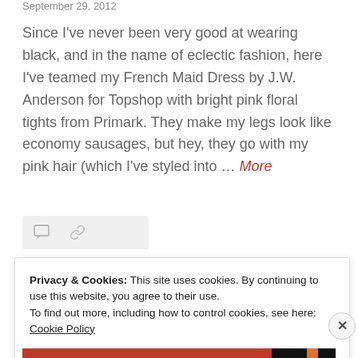September 29, 2012
Since I’ve never been very good at wearing black, and in the name of eclectic fashion, here I’ve teamed my French Maid Dress by J.W. Anderson for Topshop with bright pink floral tights from Primark. They make my legs look like economy sausages, but hey, they go with my pink hair (which I’ve styled into … More
[Figure (other): Icon bar with comment and link icons on a grey background]
[Figure (photo): Dark image strip showing a dark reddish-black photograph]
Privacy & Cookies: This site uses cookies. By continuing to use this website, you agree to their use.
To find out more, including how to control cookies, see here: Cookie Policy
Close and accept